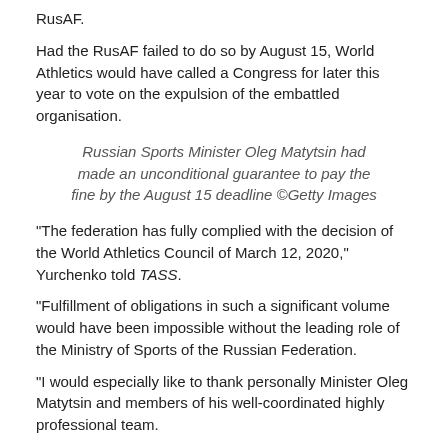RusAF.
Had the RusAF failed to do so by August 15, World Athletics would have called a Congress for later this year to vote on the expulsion of the embattled organisation.
Russian Sports Minister Oleg Matytsin had made an unconditional guarantee to pay the fine by the August 15 deadline ©Getty Images
"The federation has fully complied with the decision of the World Athletics Council of March 12, 2020," Yurchenko told TASS.
"Fulfillment of obligations in such a significant volume would have been impossible without the leading role of the Ministry of Sports of the Russian Federation.
"I would especially like to thank personally Minister Oleg Matytsin and members of his well-coordinated highly professional team.
"We are sure that today's landmark event will become the basis for convergence of positions with World Athletics in the interests of all Russian athletes."